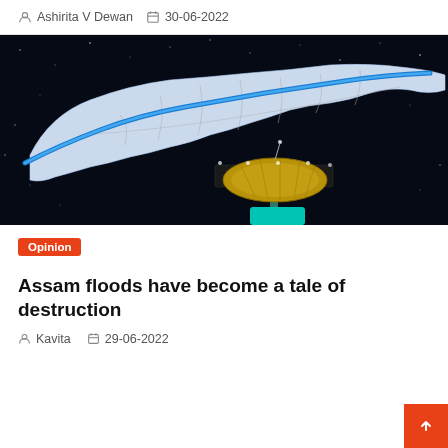Ashirita V Dewan   30-06-2022
[Figure (illustration): Satellite image of Assam showing the Brahmaputra river highlighted in blue on a dark space background, with a satellite dish in the foreground]
Opinion
Assam floods have become a tale of destruction
Kavita   29-06-2022